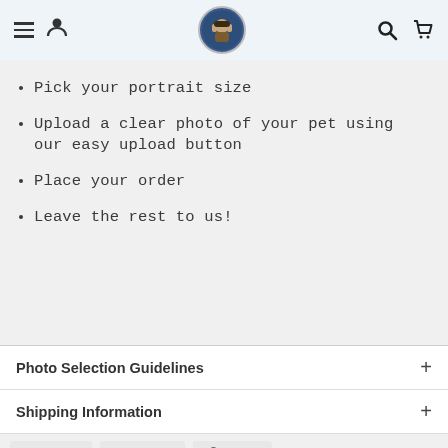Navigation header with menu, user, logo, search, and cart icons
Pick your portrait size
Upload a clear photo of your pet using our easy upload button
Place your order
Leave the rest to us!
Photo Selection Guidelines
Shipping Information
Share  Tweet  Pin it